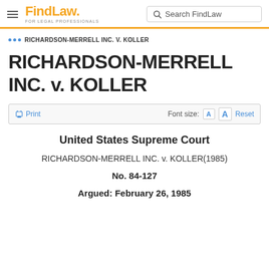FindLaw FOR LEGAL PROFESSIONALS | Search FindLaw
••• RICHARDSON-MERRELL INC. V. KOLLER
RICHARDSON-MERRELL INC. v. KOLLER
Print | Font size: A A Reset
United States Supreme Court
RICHARDSON-MERRELL INC. v. KOLLER(1985)
No. 84-127
Argued: February 26, 1985